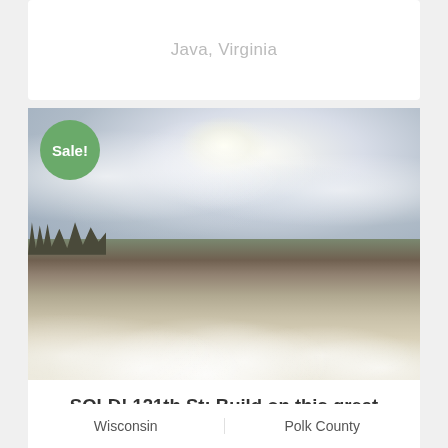Java, Virginia
[Figure (photo): Winter landscape photograph showing a snow-covered field with dry vegetation/reeds, bare trees on the left horizon, and a cloudy sky with bright sun overhead. A green 'Sale!' badge overlays the top-left corner.]
SOLD! 121th St: Build on this great corner lot with lake views!
Wisconsin
Polk County